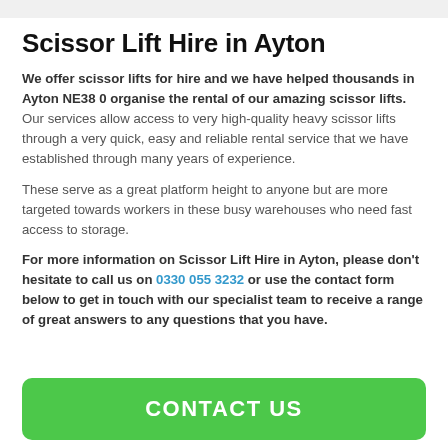Scissor Lift Hire in Ayton
We offer scissor lifts for hire and we have helped thousands in Ayton NE38 0 organise the rental of our amazing scissor lifts. Our services allow access to very high-quality heavy scissor lifts through a very quick, easy and reliable rental service that we have established through many years of experience.
These serve as a great platform height to anyone but are more targeted towards workers in these busy warehouses who need fast access to storage.
For more information on Scissor Lift Hire in Ayton, please don't hesitate to call us on 0330 055 3232 or use the contact form below to get in touch with our specialist team to receive a range of great answers to any questions that you have.
CONTACT US